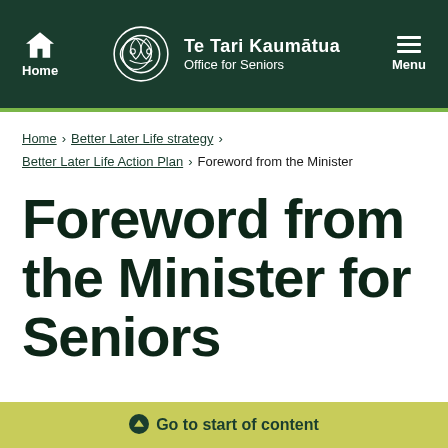Te Tari Kaumātua | Office for Seniors — Home | Menu
Home > Better Later Life strategy > Better Later Life Action Plan > Foreword from the Minister
Foreword from the Minister for Seniors
Go to start of content